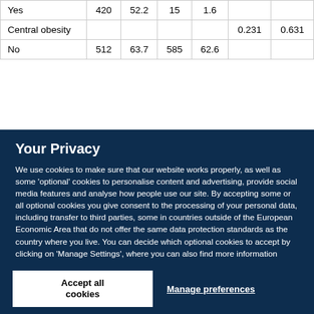| Yes | 420 | 52.2 | 15 | 1.6 |  |  |
| Central obesity |  |  |  |  | 0.231 | 0.631 |
| No | 512 | 63.7 | 585 | 62.6 |  |  |
Your Privacy
We use cookies to make sure that our website works properly, as well as some 'optional' cookies to personalise content and advertising, provide social media features and analyse how people use our site. By accepting some or all optional cookies you give consent to the processing of your personal data, including transfer to third parties, some in countries outside of the European Economic Area that do not offer the same data protection standards as the country where you live. You can decide which optional cookies to accept by clicking on 'Manage Settings', where you can also find more information about how your personal data is processed. Further information can be found in our privacy policy.
Accept all cookies
Manage preferences